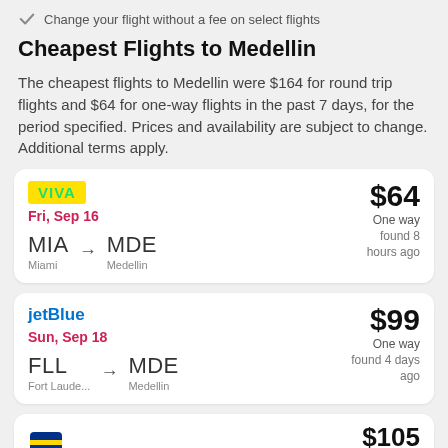Change your flight without a fee on select flights
Cheapest Flights to Medellin
The cheapest flights to Medellin were $164 for round trip flights and $64 for one-way flights in the past 7 days, for the period specified. Prices and availability are subject to change. Additional terms apply.
| Airline | Date | Route | Price | Type | Found |
| --- | --- | --- | --- | --- | --- |
| VIVA | Fri, Sep 16 | MIA (Miami) → MDE (Medellin) | $64 | One way | found 8 hours ago |
| jetBlue | Sun, Sep 18 | FLL (Fort Laude...) → MDE (Medellin) | $99 | One way | found 4 days ago |
| (partial) |  |  | $105 |  |  |